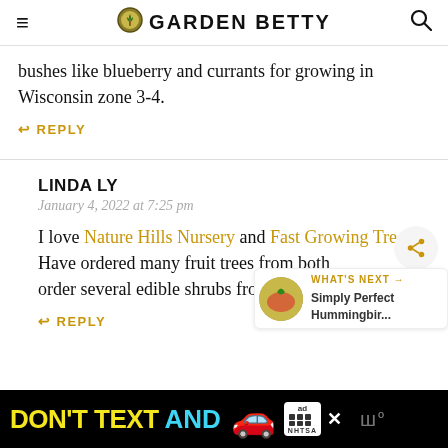Garden Betty
bushes like blueberry and currants for growing in Wisconsin zone 3-4.
REPLY
LINDA LY
January 4, 2022 at 7:25 pm
I love Nature Hills Nursery and Fast Growing Trees. Have ordered many fruit trees from both and plan to order several edible shrubs from them.
REPLY